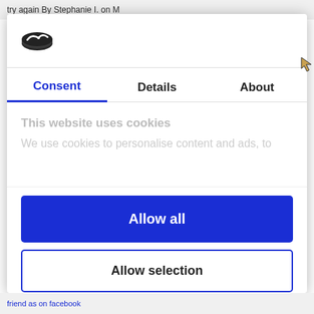try again By Stephanie I. on M
[Figure (logo): Cookiebot logo — dark oval with white checkmark wing shape]
Consent	Details	About
This website uses cookies
We use cookies to personalise content and ads, to
Allow all
Allow selection
Deny
Powered by Cookiebot by Usercentrics
friend as on facebook